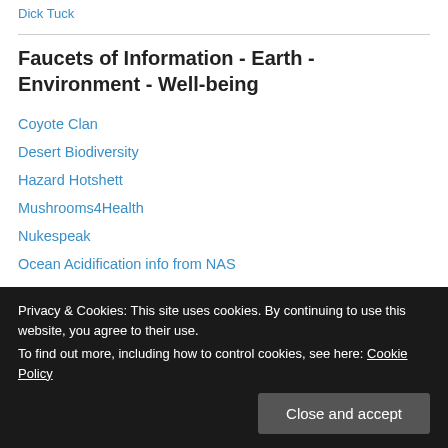Dick Tuck
Faucets of Information - Earth - Environment - Well-being
Coyote Clan
Desert Biodiversity
Hazard Hotshett
Mushrooms4Health
Nukespeak
Ocean Acidification info from NAS
Portraits of Wildflowers
Ralph Maughan's Wildlife Reports
Privacy & Cookies: This site uses cookies. By continuing to use this website, you agree to their use. To find out more, including how to control cookies, see here: Cookie Policy